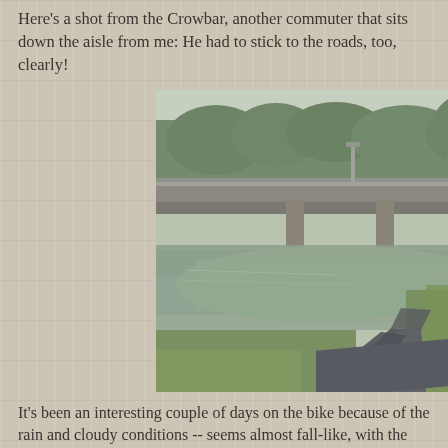Here's a shot from the Crowbar, another commuter that sits down the aisle from me: He had to stick to the roads, too, clearly!
[Figure (photo): An outdoor photo showing a flooded bike path/trail near a road bridge. Brown floodwater covers a low-lying area adjacent to a paved trail. A concrete/steel road bridge is visible in the background. Green trees and grass surround the flooded area.]
It's been an interesting couple of days on the bike because of the rain and cloudy conditions -- seems almost fall-like, with the exception of the temperatures. Once this weather clears, it's gonna get HOT again. But, for now, I actually have to don the short-sleeve modified rain jacket on the way home from job#2 in the evening, as the rain is quite cold and steady. Cold up there. I